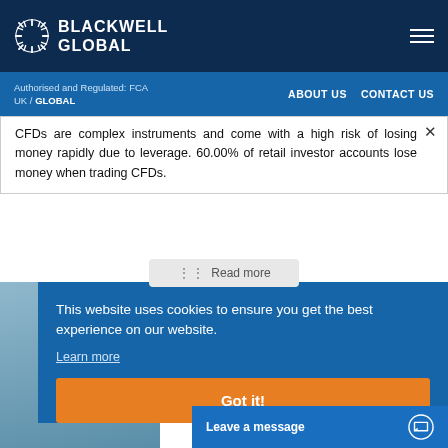BLACKWELL GLOBAL
Authorised and Regulated: FCA UK / GLOBAL
ABOUT US   CONTACT US
CFDs are complex instruments and come with a high risk of losing money rapidly due to leverage. 60.00% of retail investor accounts lose money when trading CFDs.
Read more
This website uses cookies to ensure you get the best experience on our website.
Learn more
Got it!
Leave a message